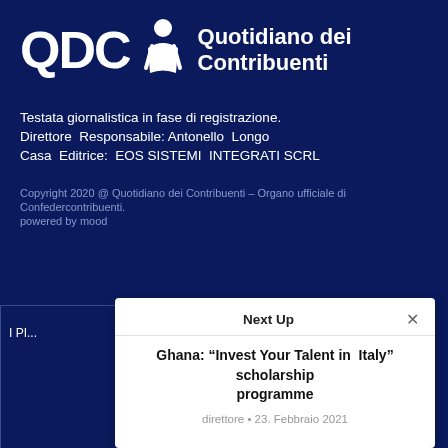[Figure (logo): QDC logo with stylized figure and text 'Quotidiano dei Contribuenti']
Testata giornalistica in fase di registrazione.
Direttore Responsabile: Antonello Longo
Casa Editrice: EOS SISTEMI INTEGRATI SCRL
Copyright 2020 @ Quotidiano dei Contribuenti – Organo ufficiale di Confedercontribuenti.
powered by mood
I PI...
Next Up
Ghana: "Invest Your Talent in Italy" scholarship programme
direttore • 23. Febbraio 2021